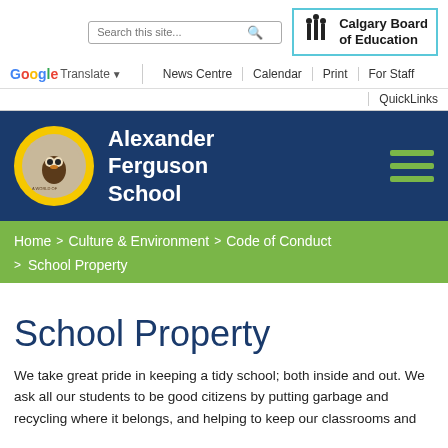[Figure (screenshot): Calgary Board of Education logo with stylized figures icon and text 'Calgary Board of Education']
Search this site... | Google Translate | News Centre | Calendar | Print | For Staff | QuickLinks
[Figure (logo): Alexander Ferguson School circular logo with yellow border]
Alexander Ferguson School
Home > Culture & Environment > Code of Conduct > School Property
School Property
We take great pride in keeping a tidy school; both inside and out. We ask all our students to be good citizens by putting garbage and recycling where it belongs, and helping to keep our classrooms and